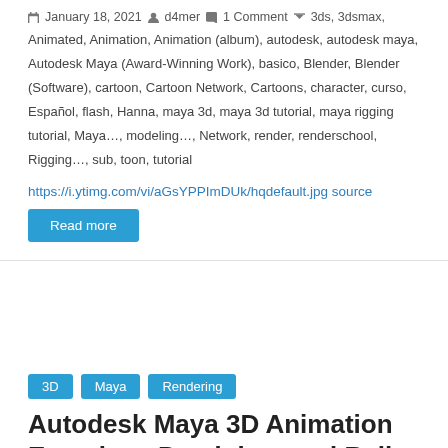January 18, 2021  d4mer  1 Comment  3ds, 3dsmax, Animated, Animation, Animation (album), autodesk, autodesk maya, Autodesk Maya (Award-Winning Work), basico, Blender, Blender (Software), cartoon, Cartoon Network, Cartoons, character, curso, Español, flash, Hanna, maya 3d, maya 3d tutorial, maya rigging tutorial, Maya…, modeling…, Network, render, renderschool, Rigging…, sub, toon, tutorial
https://i.ytimg.com/vi/aGsYPPImDUk/hqdefault.jpg source
Read more
3D
Maya
Rendering
Autodesk Maya 3D Animation Exercise : Pendulum and Ball
January 11, 2021  d4mer  0 Comments  3D Computer